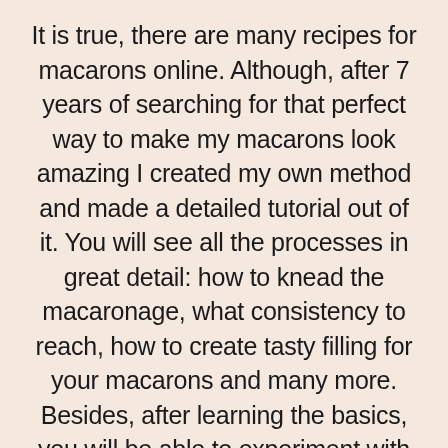It is true, there are many recipes for macarons online. Although, after 7 years of searching for that perfect way to make my macarons look amazing I created my own method and made a detailed tutorial out of it. You will see all the processes in great detail: how to knead the macaronage, what consistency to reach, how to create tasty filling for your macarons and many more. Besides, after learning the basics, you will be able to experiment with flavours and create your own unique recipes. Let me give you the